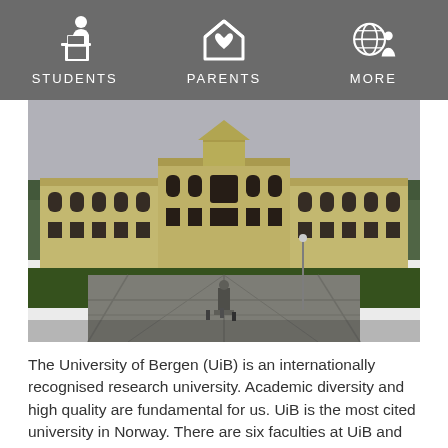[Figure (other): Navigation bar with icons and labels: STUDENTS (person at laptop), PARENTS (house with heart), MORE (globe with person)]
[Figure (photo): Photograph of the University of Bergen main building - a large classical yellow building with arched windows, viewed from the front courtyard with a statue and paved paths]
The University of Bergen (UiB) is an internationally recognised research university. Academic diversity and high quality are fundamental for us. UiB is the most cited university in Norway. There are six faculties at UiB and there are a total of 14,000